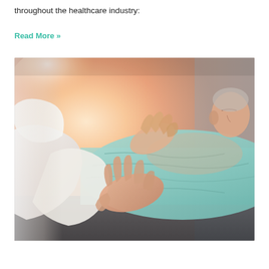throughout the healthcare industry:
Read More »
[Figure (photo): A healthcare professional in white coat placing hands on a patient lying down covered with a light teal/aqua blanket, with warm orange light flare in the background. Close-up of hands providing care.]